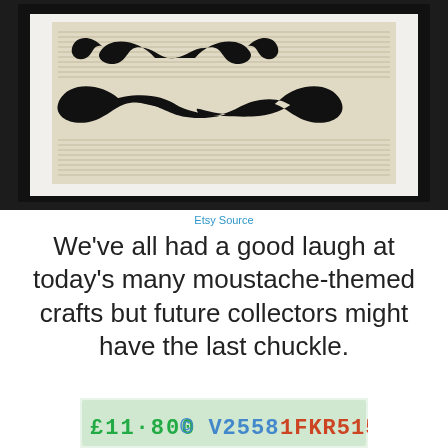[Figure (photo): Framed art print featuring two black moustache silhouettes printed on vintage dictionary page, displayed in a black picture frame with white mat]
Etsy Source
We've all had a good laugh at today's many moustache-themed crafts but future collectors might have the last chuckle.
[Figure (photo): Partial image of what appears to be a license plate or similar item with text/numbers visible]